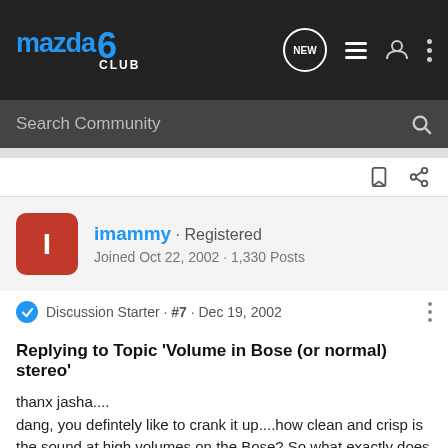Mazda 6 Club — navigation bar with logo, NEW, list, user, and menu icons
Search Community
imammy · Registered
Joined Oct 22, 2002 · 1,330 Posts
Discussion Starter · #7 · Dec 19, 2002
Replying to Topic 'Volume in Bose (or normal) stereo'
thanx jasha....
dang, you defintely like to crank it up....how clean and crisp is the sound at high volumes on the Bose? So what exactly does ACL 1,2,3 levels mean...how do they differ?

thanx,